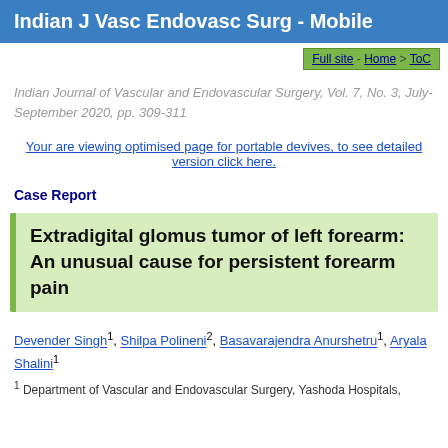Indian J Vasc Endovasc Surg - Mobile
Full site - Home > ToC
Indian Journal of Vascular and Endovascular Surgery, Vol. 7, No. 3, July-September 2020, pp. 309-311
Your are viewing optimised page for portable devives, to see detailed version click here.
Case Report
Extradigital glomus tumor of left forearm: An unusual cause for persistent forearm pain
Devender Singh1, Shilpa Polineni2, Basavarajendra Anurshetru1, Aryala Shalini1
1 Department of Vascular and Endovascular Surgery, Yashoda Hospitals,